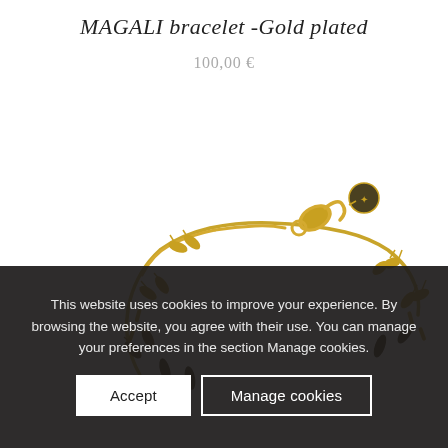MAGALI bracelet -Gold plated
100,00 €
[Figure (photo): Gold plated bracelet with leaf charms, showing the clasp and chain detail against a white background]
This website uses cookies to improve your experience. By browsing the website, you agree with their use. You can manage your preferences in the section Manage cookies.
Accept
Manage cookies